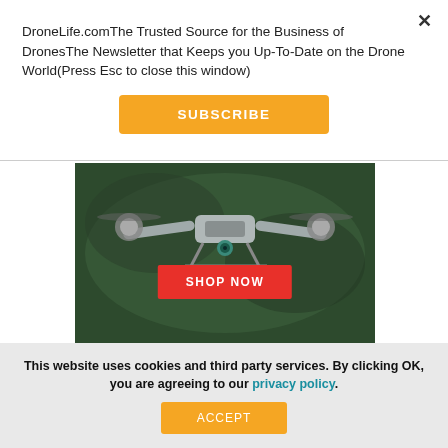DroneLife.comThe Trusted Source for the Business of DronesThe Newsletter that Keeps you Up-To-Date on the Drone World(Press Esc to close this window)
[Figure (other): Orange SUBSCRIBE button]
[Figure (photo): Drone photo advertisement with red SHOP NOW button overlay]
[Figure (logo): Skudio logo on grey background]
This website uses cookies and third party services. By clicking OK, you are agreeing to our privacy policy.
[Figure (other): Orange ACCEPT button]